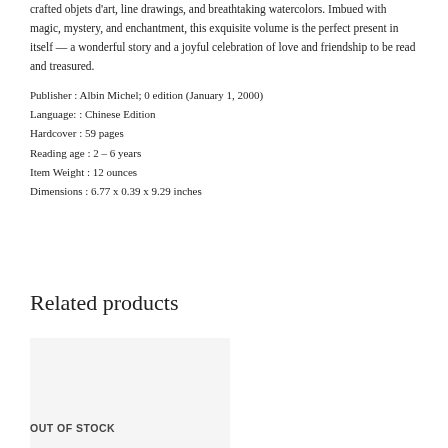crafted objets d'art, line drawings, and breathtaking watercolors. Imbued with magic, mystery, and enchantment, this exquisite volume is the perfect present in itself — a wonderful story and a joyful celebration of love and friendship to be read and treasured.
Publisher : Albin Michel; 0 edition (January 1, 2000)
Language: : Chinese Edition
Hardcover : 59 pages
Reading age : 2 – 6 years
Item Weight : 12 ounces
Dimensions : 6.77 x 0.39 x 9.29 inches
Related products
[Figure (other): Sale badge circle with text 'Sale' on dark background]
[Figure (other): Product image placeholder area (light gray)]
OUT OF STOCK